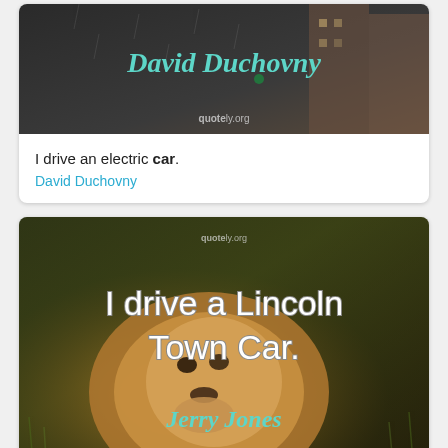[Figure (photo): Quote image with dark rainy city background showing text 'David Duchovny' in teal italic font and quotely.org watermark]
I drive an electric car.
David Duchovny
[Figure (photo): Quote image with lion in grass background showing text 'I drive a Lincoln Town Car.' in white outlined font and 'Jerry Jones' in teal italic, with quotely.org watermark]
I drive a Lincoln Town Car.
Jerry Jones